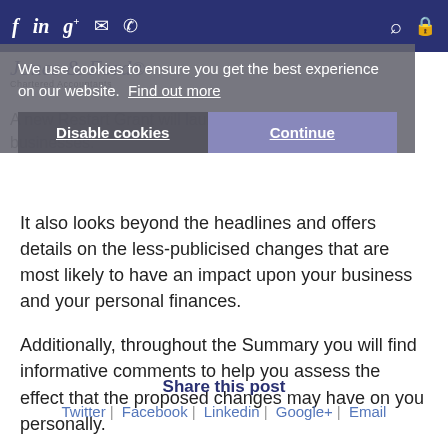Navigation bar with social icons (Facebook, LinkedIn, Google+, email, phone) and search/lock icons
We use cookies to ensure you get the best experience on our website. Find out more
Disable cookies | Continue
A new Restart Grant will launch in April to help businesses.
It also looks beyond the headlines and offers details on the less-publicised changes that are most likely to have an impact upon your business and your personal finances.
Additionally, throughout the Summary you will find informative comments to help you assess the effect that the proposed changes may have on you personally.
Share this post
Twitter | Facebook | Linkedin | Google+ | Email